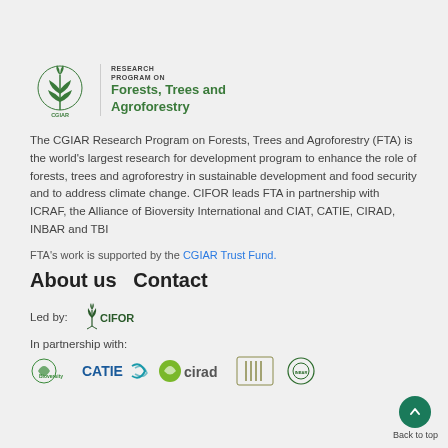[Figure (logo): CGIAR Research Program on Forests, Trees and Agroforestry logo with green tree/wheat icon and text]
The CGIAR Research Program on Forests, Trees and Agroforestry (FTA) is the world's largest research for development program to enhance the role of forests, trees and agroforestry in sustainable development and food security and to address climate change. CIFOR leads FTA in partnership with ICRAF, the Alliance of Bioversity International and CIAT, CATIE, CIRAD, INBAR and TBI
FTA's work is supported by the CGIAR Trust Fund.
About us  Contact
Led by:
[Figure (logo): CIFOR logo]
In partnership with:
[Figure (logo): Partner logos: Bioversity, CATIE, cirad, INBAR, and others]